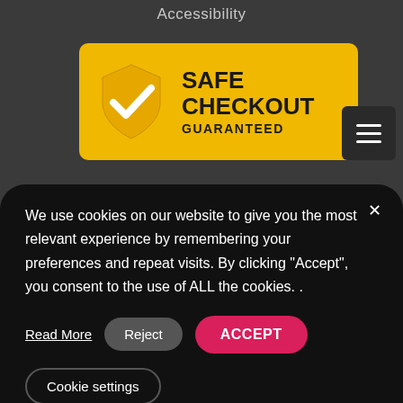Accessibility
[Figure (logo): Safe Checkout Guaranteed badge: yellow rounded rectangle with shield icon containing a checkmark and bold text reading SAFE CHECKOUT GUARANTEED]
We use cookies on our website to give you the most relevant experience by remembering your preferences and repeat visits. By clicking “Accept”, you consent to the use of ALL the cookies. .
Read More
Reject
ACCEPT
Cookie settings